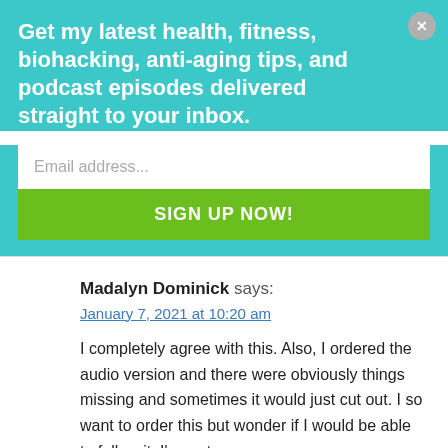Get my latest health, fitness, biohacking, anti-aging tips, and podcast episodes delivered straight to your inbox.
Email address...
SIGN UP NOW!
Madalyn Dominick says:
January 7, 2021 at 10:20 am
I completely agree with this. Also, I ordered the audio version and there were obviously things missing and sometimes it would just cut out. I so want to order this but wonder if I would be able to follow it. I'm so torn.